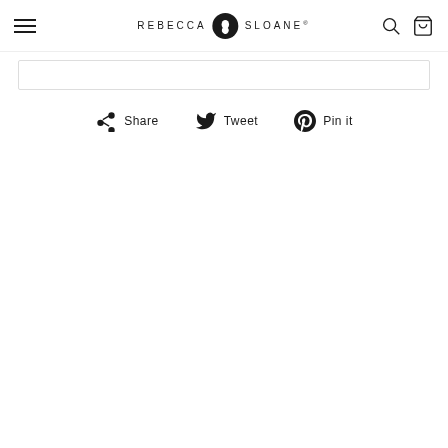REBECCA SLOANE
[Figure (screenshot): Thin rectangular bar/divider element below the navigation header]
Share  Tweet  Pin it